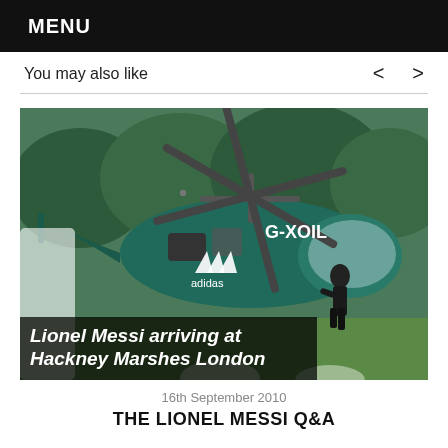MENU
You may also like
[Figure (photo): Lionel Messi stepping out of a teal/dark green helicopter marked G-XOIL with an Adidas logo, on a green field. Caption overlay reads: Lionel Messi arriving at Hackney Marshes London]
Lionel Messi arriving at Hackney Marshes London
16th September 2010
THE LIONEL MESSI Q&A